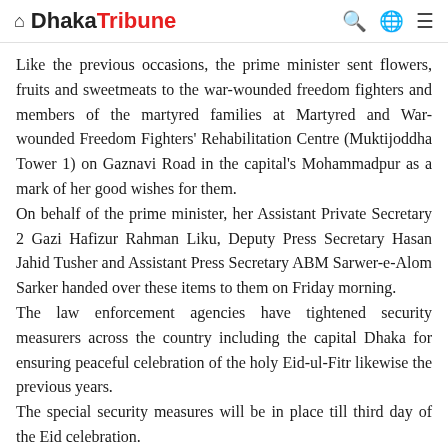Dhaka Tribune
Like the previous occasions, the prime minister sent flowers, fruits and sweetmeats to the war-wounded freedom fighters and members of the martyred families at Martyred and War-wounded Freedom Fighters' Rehabilitation Centre (Muktijoddha Tower 1) on Gaznavi Road in the capital's Mohammadpur as a mark of her good wishes for them.
On behalf of the prime minister, her Assistant Private Secretary 2 Gazi Hafizur Rahman Liku, Deputy Press Secretary Hasan Jahid Tusher and Assistant Press Secretary ABM Sarwer-e-Alom Sarker handed over these items to them on Friday morning.
The law enforcement agencies have tightened security measurers across the country including the capital Dhaka for ensuring peaceful celebration of the holy Eid-ul-Fitr likewise the previous years.
The special security measures will be in place till third day of the Eid celebration.